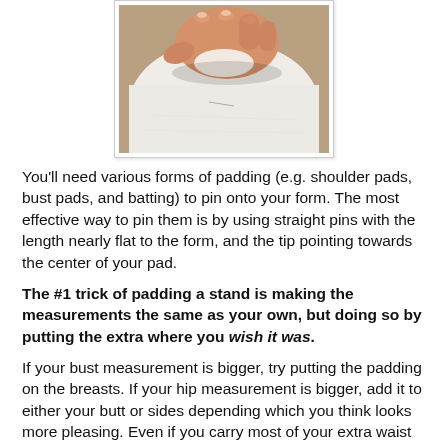[Figure (photo): A hand holding/pinning white padding material, with tan/brown fabric visible in the background. Close-up photo showing fingers pressing down on white batting or shoulder pad material.]
You'll need various forms of padding (e.g. shoulder pads, bust pads, and batting) to pin onto your form. The most effective way to pin them is by using straight pins with the length nearly flat to the form, and the tip pointing towards the center of your pad.
The #1 trick of padding a stand is making the measurements the same as your own, but doing so by putting the extra where you wish it was.
If your bust measurement is bigger, try putting the padding on the breasts. If your hip measurement is bigger, add it to either your butt or sides depending which you think looks more pleasing. Even if you carry most of your extra waist in